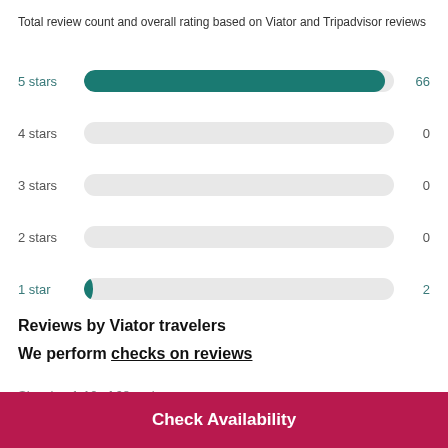Total review count and overall rating based on Viator and Tripadvisor reviews
[Figure (bar-chart): Star rating breakdown]
Reviews by Viator travelers
We perform checks on reviews
Showing 1-10 of 68 reviews
Check Availability